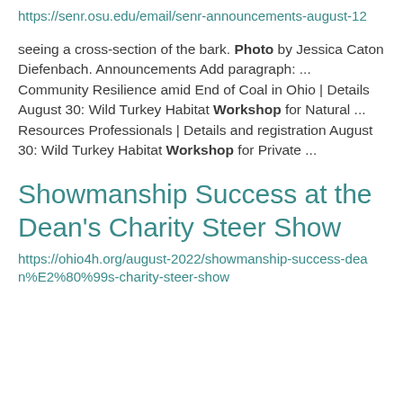https://senr.osu.edu/email/senr-announcements-august-12
seeing a cross-section of the bark. Photo by Jessica Caton Diefenbach. Announcements Add paragraph: ... Community Resilience amid End of Coal in Ohio | Details August 30: Wild Turkey Habitat Workshop for Natural ... Resources Professionals | Details and registration August 30: Wild Turkey Habitat Workshop for Private ...
Showmanship Success at the Dean's Charity Steer Show
https://ohio4h.org/august-2022/showmanship-success-dean%E2%80%99s-charity-steer-show